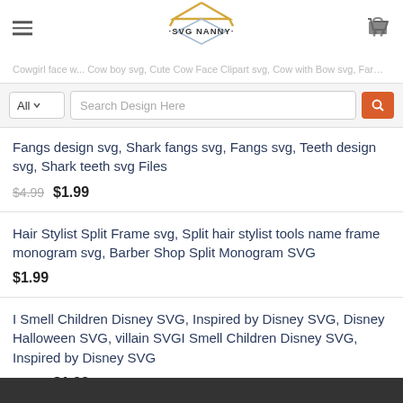SVG NANNY
Cowgirl face w... Cow boy svg, Cute Cow Face Clipart svg, Cow with Bow svg, Farm Animal svg
Search Design Here
Fangs design svg, Shark fangs svg, Fangs svg, Teeth design svg, Shark teeth svg Files
$4.99  $1.99
Hair Stylist Split Frame svg, Split hair stylist tools name frame monogram svg, Barber Shop Split Monogram SVG
$1.99
I Smell Children Disney SVG, Inspired by Disney SVG, Disney Halloween SVG, villain SVGI Smell Children Disney SVG, Inspired by Disney SVG
$4.99  $1.99